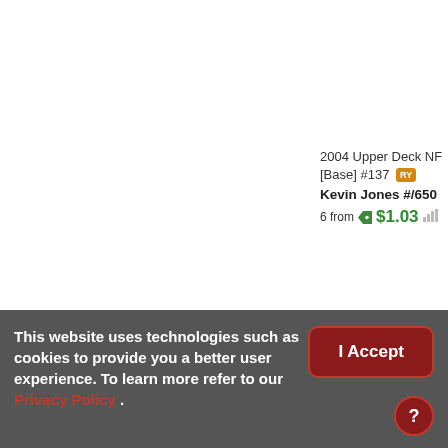2004 Upper Deck NF [Base] #137 RY Kevin Jones #/650 6 from $1.03
This website uses technologies such as cookies to provide you a better user experience. To learn more refer to our Privacy Policy .